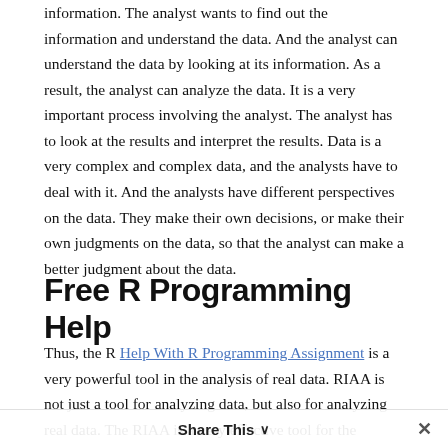information. The analyst wants to find out the information and understand the data. And the analyst can understand the data by looking at its information. As a result, the analyst can analyze the data. It is a very important process involving the analyst. The analyst has to look at the results and interpret the results. Data is a very complex and complex data, and the analysts have to deal with it. And the analysts have different perspectives on the data. They make their own decisions, or make their own judgments on the data, so that the analyst can make a better judgment about the data.
Free R Programming Help
Thus, the R Help With R Programming Assignment is a very powerful tool in the analysis of real data. RIAA is not just a tool for analyzing data, but also for analyzing real data. The RIAA is a very effective tool for the analyst. It is very powerful for the analyst to be able to analyze real data, but the analyst has to understand the real data and interpret the real data more, and the analyst can do a better job, so that they can make a more
Share This ∨ ✕